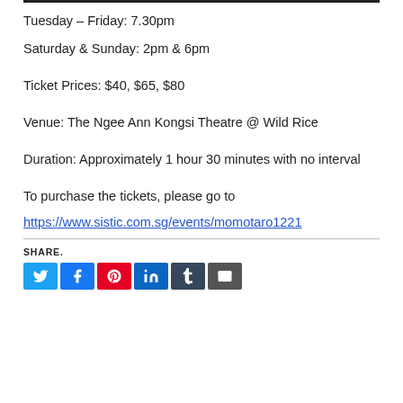Tuesday – Friday: 7.30pm
Saturday & Sunday: 2pm & 6pm
Ticket Prices: $40, $65, $80
Venue: The Ngee Ann Kongsi Theatre @ Wild Rice
Duration: Approximately 1 hour 30 minutes with no interval
To purchase the tickets, please go to https://www.sistic.com.sg/events/momotaro1221
SHARE.